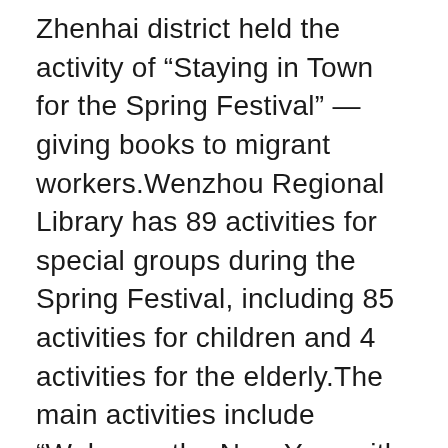Zhenhai district held the activity of “Staying in Town for the Spring Festival” — giving books to migrant workers.Wenzhou Regional Library has 89 activities for special groups during the Spring Festival, including 85 activities for children and 4 activities for the elderly.The main activities include “Welcome the New Year with joy, Send Blessings and Send Spring Festival Couplets” 2022 Spring Festival Folklore Knowledge Cloud competition, small congratulatory gifts and Strong Blessings — Short video collection of Creative Spring Festival works, “Poems pass ancient rhymes · Words Sing Spring Festival”, customized Lectures on New Year reading plan, etc.The main activities of Huzhou district Library during the Spring Festival include celebrating the Spring Festival by guessing lantern riddles, celebrating the New Year with books, “Finding the Flavor of the New Year and welcoming the Year of the Tiger”, the theme activity of “Inheriting culture and Writing Ink south of the Yangtze River”, and the lantern